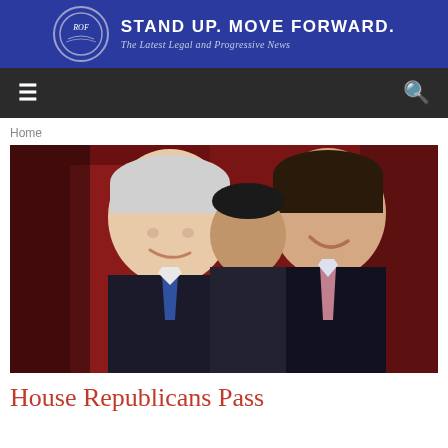ROF | STAND UP. MOVE FORWARD. | The Latest Legal and Progressive News
[Figure (logo): ROF website navigation header with hamburger menu and search icon on dark background]
Home
[Figure (photo): Three men in suits laughing and smiling, appearing to be politicians celebrating, against a red background]
House Republicans Pass